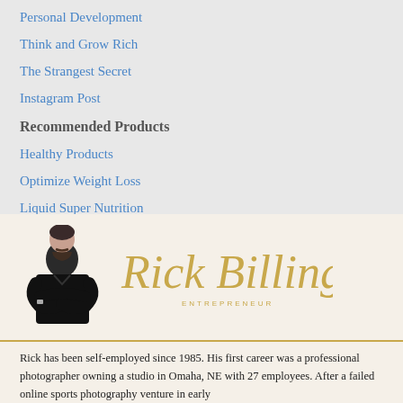Personal Development
Think and Grow Rich
The Strangest Secret
Instagram Post
Recommended Products
Healthy Products
Optimize Weight Loss
Liquid Super Nutrition
[Figure (photo): Photo of Rick Billings (man in black shirt with arms crossed) alongside his cursive signature 'Rick Billings' with 'ENTREPRENEUR' subtitle in gold]
Rick has been self-employed since 1985. His first career was a professional photographer owning a studio in Omaha, NE with 27 employees. After a failed online sports photography venture in early